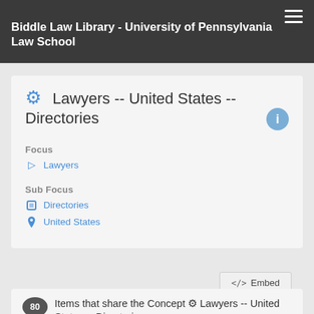Biddle Law Library - University of Pennsylvania Law School
Lawyers -- United States -- Directories
Focus
Lawyers
Sub Focus
Directories
United States
</> Embed
80 Items that share the Concept ⚙ Lawyers -- United States -- Directories